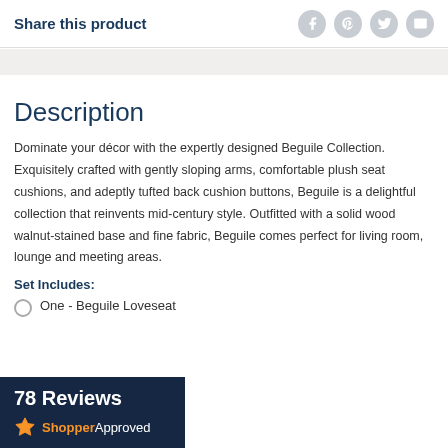Share this product
Description
Dominate your décor with the expertly designed Beguile Collection. Exquisitely crafted with gently sloping arms, comfortable plush seat cushions, and adeptly tufted back cushion buttons, Beguile is a delightful collection that reinvents mid-century style. Outfitted with a solid wood walnut-stained base and fine fabric, Beguile comes perfect for living room, lounge and meeting areas.
Set Includes:
One - Beguile Loveseat